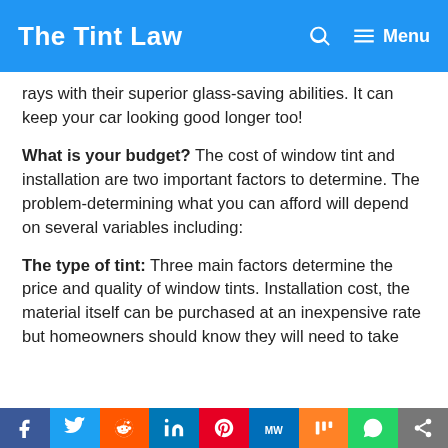The Tint Law
rays with their superior glass-saving abilities. It can keep your car looking good longer too!
What is your budget? The cost of window tint and installation are two important factors to determine. The problem-determining what you can afford will depend on several variables including:
The type of tint: Three main factors determine the price and quality of window tints. Installation cost, the material itself can be purchased at an inexpensive rate but homeowners should know they will need to take